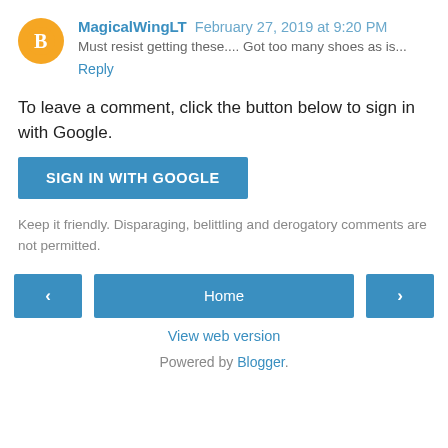MagicalWingLT February 27, 2019 at 9:20 PM — Must resist getting these.... Got too many shoes as is...
Reply
To leave a comment, click the button below to sign in with Google.
[Figure (other): SIGN IN WITH GOOGLE button]
Keep it friendly. Disparaging, belittling and derogatory comments are not permitted.
[Figure (other): Navigation bar with left arrow, Home button, and right arrow]
View web version
Powered by Blogger.